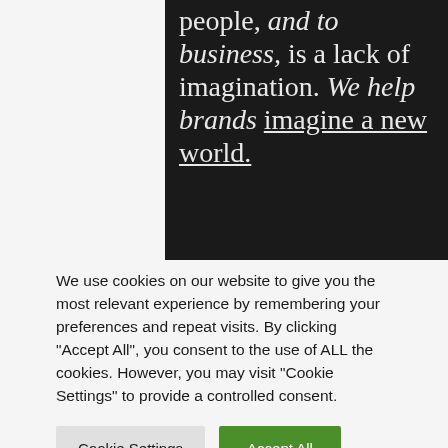[Figure (illustration): Dark panel with large serif text reading: 'people, and to business, is a lack of imagination. We help brands imagine a new world.' Partial text visible, italic and underlined portions present.]
We use cookies on our website to give you the most relevant experience by remembering your preferences and repeat visits. By clicking "Accept All", you consent to the use of ALL the cookies. However, you may visit "Cookie Settings" to provide a controlled consent.
Cookie Settings | Accept All